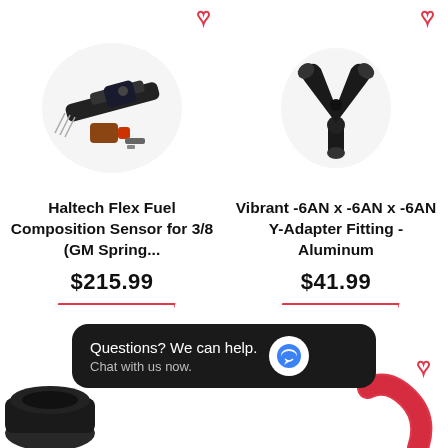[Figure (photo): Haltech Flex Fuel Composition Sensor kit with connector and pins]
[Figure (photo): Vibrant -6AN x -6AN x -6AN Y-Adapter Fitting in black aluminum]
Haltech Flex Fuel Composition Sensor for 3/8 (GM Spring...
$215.99
Add to cart
Vibrant -6AN x -6AN x -6AN Y-Adapter Fitting - Aluminum
$41.99
Add to cart
[Figure (photo): Partial product image at bottom left - black hose fitting]
[Figure (photo): Partial product image at bottom right - red curved part]
Questions? We can help. Chat with us now.